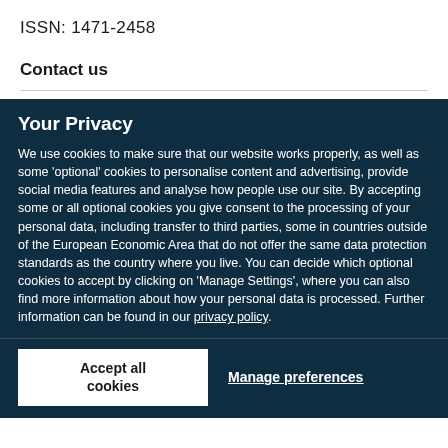ISSN: 1471-2458
Contact us
Your Privacy
We use cookies to make sure that our website works properly, as well as some ‘optional’ cookies to personalise content and advertising, provide social media features and analyse how people use our site. By accepting some or all optional cookies you give consent to the processing of your personal data, including transfer to third parties, some in countries outside of the European Economic Area that do not offer the same data protection standards as the country where you live. You can decide which optional cookies to accept by clicking on ‘Manage Settings’, where you can also find more information about how your personal data is processed. Further information can be found in our privacy policy.
Accept all cookies
Manage preferences